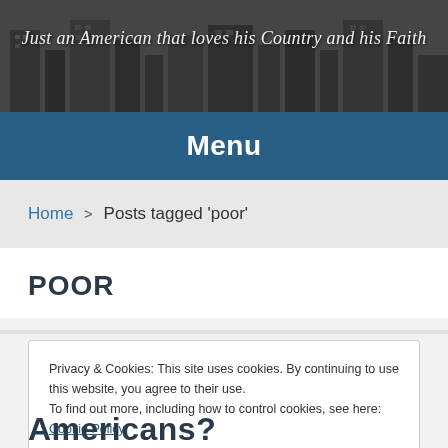[Figure (photo): Grayscale cityscape/urban building photo used as website header background]
Just an American that loves his Country and his Faith
Menu
Home > Posts tagged 'poor'
POOR
Privacy & Cookies: This site uses cookies. By continuing to use this website, you agree to their use.
To find out more, including how to control cookies, see here: Cookie Policy
Close and accept
Americans?